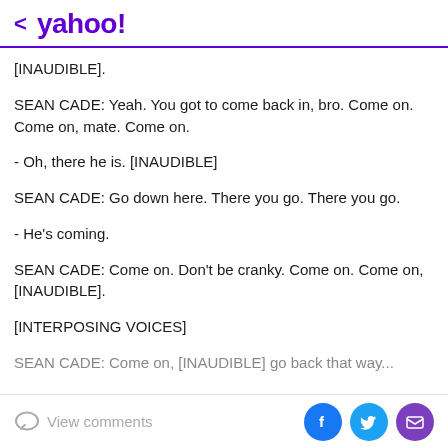< yahoo!
[INAUDIBLE].
SEAN CADE: Yeah. You got to come back in, bro. Come on. Come on, mate. Come on.
- Oh, there he is. [INAUDIBLE]
SEAN CADE: Go down here. There you go. There you go.
- He's coming.
SEAN CADE: Come on. Don't be cranky. Come on. Come on, [INAUDIBLE].
[INTERPOSING VOICES]
SEAN CADE: Come on, [INAUDIBLE] go back that way...
View comments | Facebook | Twitter | Mail